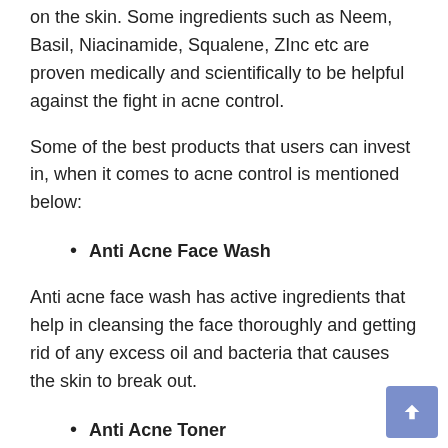on the skin. Some ingredients such as Neem, Basil, Niacinamide, Squalene, ZInc etc are proven medically and scientifically to be helpful against the fight in acne control.
Some of the best products that users can invest in, when it comes to acne control is mentioned below:
Anti Acne Face Wash
Anti acne face wash has active ingredients that help in cleansing the face thoroughly and getting rid of any excess oil and bacteria that causes the skin to break out.
Anti Acne Toner